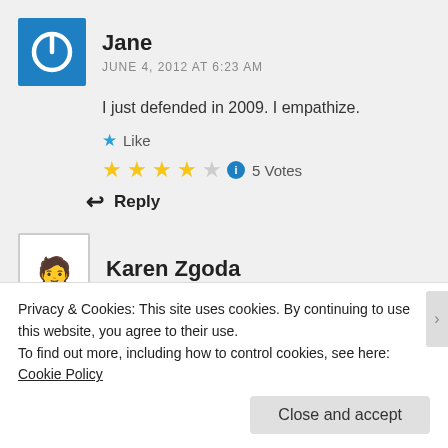[Figure (illustration): Blue square avatar with white power button icon]
Jane
JUNE 4, 2012 AT 6:23 AM
I just defended in 2009. I empathize.
★ Like
[Figure (other): 4 filled gold stars, 1 empty star, info icon, 5 Votes]
↩ Reply
[Figure (illustration): White square avatar with pencil/person icon, bordered]
Karen Zgoda
Privacy & Cookies: This site uses cookies. By continuing to use this website, you agree to their use.
To find out more, including how to control cookies, see here: Cookie Policy
Close and accept